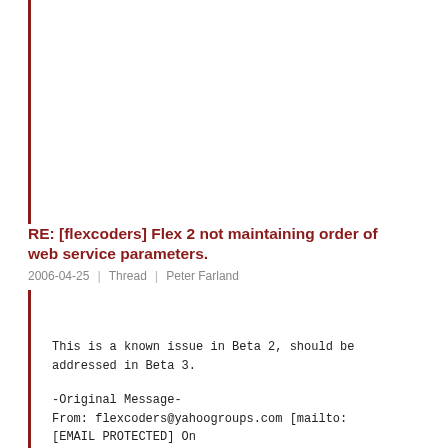RE: [flexcoders] Flex 2 not maintaining order of web service parameters.
2006-04-25  |  Thread  |  Peter Farland
This is a known issue in Beta 2, should be addressed in Beta 3.

-Original Message-
From: flexcoders@yahoogroups.com [mailto:
[EMAIL PROTECTED] On